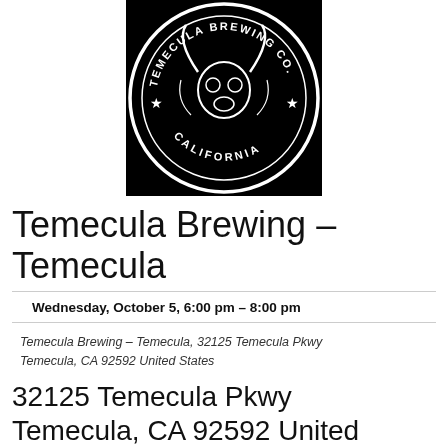[Figure (logo): Temecula Brewing Co. circular logo with black background, bull skull illustration, stars, and text reading TEMECULA BREWING CO. CALIFORNIA]
Temecula Brewing – Temecula
Wednesday, October 5, 6:00 pm – 8:00 pm
Temecula Brewing – Temecula, 32125 Temecula Pkwy Temecula, CA 92592 United States
32125 Temecula Pkwy Temecula, CA 92592 United States
Learn more »